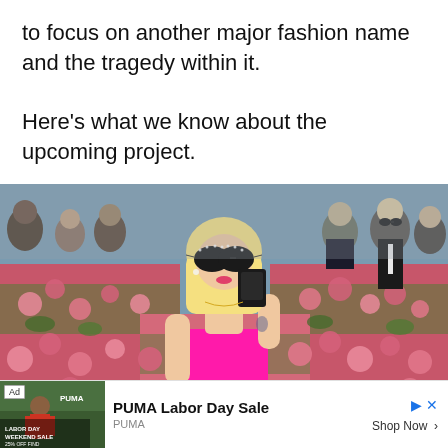to focus on another major fashion name and the tragedy within it.

Here's what we know about the upcoming project.
[Figure (photo): Celebrity wearing large black sunglasses and a bright pink outfit at what appears to be the Met Gala, surrounded by pink roses and a crowd of onlookers and photographers.]
Ad | PUMA Labor Day Sale | PUMA | Shop Now >